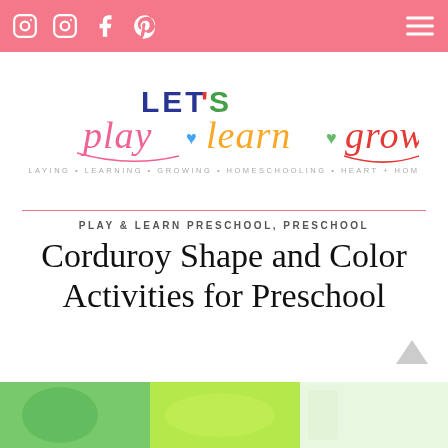Navigation bar with social icons (Instagram, Instagram, Facebook, Pinterest) and hamburger menu
[Figure (logo): Let's Play Learn Grow blog logo with colorful script lettering and tagline: PLAYING • LEARNING • GROWING • HOMESCHOOLING • HEART + HOME]
PLAY & LEARN PRESCHOOL, PRESCHOOL
Corduroy Shape and Color Activities for Preschool
- LEAVE A COMMENT
[Figure (photo): Image strip at bottom showing green Corduroy bear cutouts and craft materials]